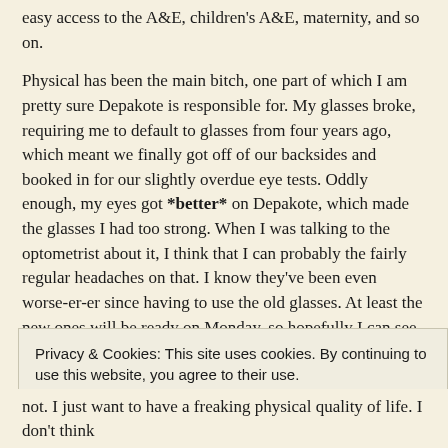easy access to the A&E, children's A&E, maternity, and so on.
Physical has been the main bitch, one part of which I am pretty sure Depakote is responsible for. My glasses broke, requiring me to default to glasses from four years ago, which meant we finally got off of our backsides and booked in for our slightly overdue eye tests. Oddly enough, my eyes got *better* on Depakote, which made the glasses I had too strong. When I was talking to the optometrist about it, I think that I can probably the fairly regular headaches on that. I know they've been even worse-er-er since having to use the old glasses. At least the new ones will be ready on Monday, so hopefully I can see that go past.
There's also all the crap that hasn't been fixed, and has probably been worsened by getting that Mirena IUD a few years back. My chronic fatigue is worse, my periods got weirder, my weight keeps going up… not that I mind being a fat girl, but I can't do anything about it without
Privacy & Cookies: This site uses cookies. By continuing to use this website, you agree to their use. To find out more, including how to control cookies, see here: Cookie Policy
not. I just want to have a freaking physical quality of life. I don't think